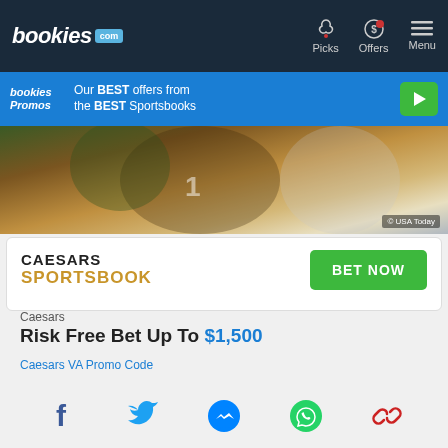[Figure (screenshot): Bookies.com navigation bar with logo, Picks, Offers, and Menu items]
[Figure (infographic): Bookies Promos banner: Our BEST offers from the BEST Sportsbooks with play button]
[Figure (photo): Sports photo of football player, credited to USA Today]
[Figure (logo): Caesars Sportsbook logo with BET NOW button]
Caesars
Risk Free Bet Up To $1,500
Caesars VA Promo Code
[Figure (infographic): Social share icons: Facebook, Twitter, Messenger, WhatsApp, Link]